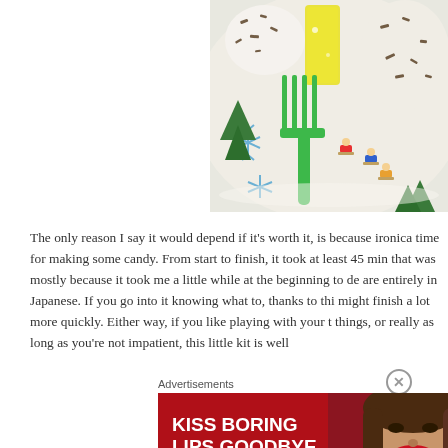[Figure (photo): Close-up photo of a decorative plate with winter/holiday scene showing snowflakes, snowmen with chocolate sprinkles, a green plastic fork, a yellow candy piece, and small figures sledding. The plate has a white background with painted holiday imagery.]
The only reason I say it would depend if it's worth it, is because ironica time for making some candy. From start to finish, it took at least 45 min that was mostly because it took me a little while at the beginning to de are entirely in Japanese. If you go into it knowing what to, thanks to thi might finish a lot more quickly. Either way, if you like playing with your t things, or really as long as you're not impatient, this little kit is well
Advertisements
[Figure (photo): Advertisement banner for Macy's lipstick/makeup product. Red background with white text reading 'KISS BORING LIPS GOODBYE' on the left, a woman's face with red lips in the center, and a 'SHOP NOW' button with Macy's star logo on the right.]